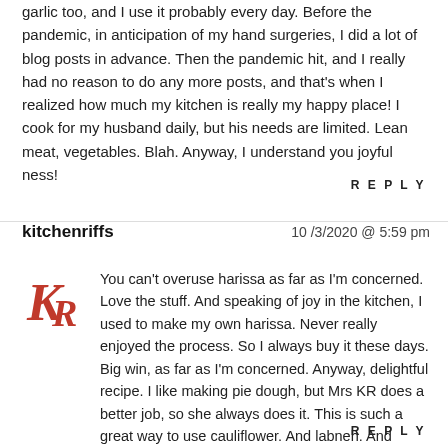garlic too, and I use it probably every day. Before the pandemic, in anticipation of my hand surgeries, I did a lot of blog posts in advance. Then the pandemic hit, and I really had no reason to do any more posts, and that's when I realized how much my kitchen is really my happy place! I cook for my husband daily, but his needs are limited. Lean meat, vegetables. Blah. Anyway, I understand you joyful ness!
REPLY
kitchenriffs
10 /3/2020 @ 5:59 pm
[Figure (logo): KR logo in red cursive lettering]
You can't overuse harissa as far as I'm concerned. Love the stuff. And speaking of joy in the kitchen, I used to make my own harissa. Never really enjoyed the process. So I always buy it these days. Big win, as far as I'm concerned. Anyway, delightful recipe. I like making pie dough, but Mrs KR does a better job, so she always does it. This is such a great way to use cauliflower. And labneh. And harissa, of course. Which I'll buy. 🙂
REPLY